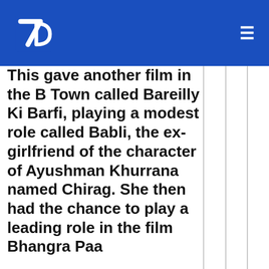7D logo and navigation menu
This gave another film in the B Town called Bareilly Ki Barfi, playing a modest role called Babli, the ex-girlfriend of the character of Ayushman Khurrana named Chirag. She then had the chance to play a leading role in the film Bhangra Paa